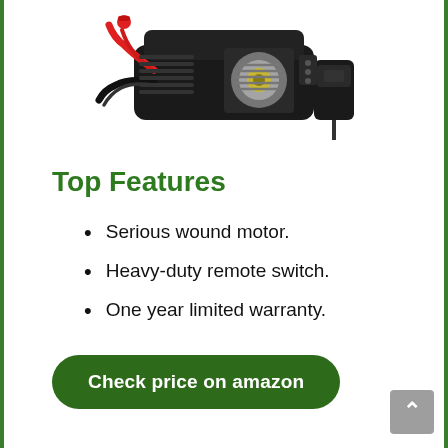[Figure (photo): Electric winch product photo showing a black winch unit with red and black cables, a steel cable spool, and a remote switch controller]
Top Features
Serious wound motor.
Heavy-duty remote switch.
One year limited warranty.
Check price on amazon